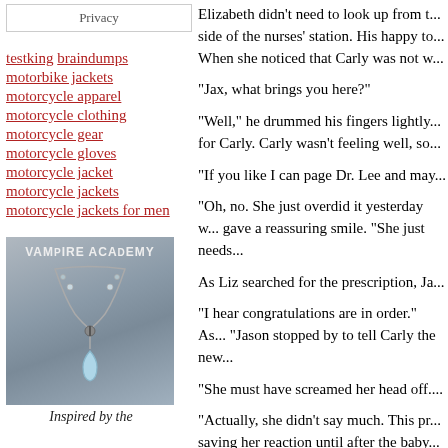Privacy
testking
braindumps
motorbike jackets
motorcycle apparel
motorcycle clothing
motorcycle gear
motorcycle gloves
motorcycle jacket
motorcycle jackets
motorcycle jackets for men
[Figure (photo): A necklace with a light blue teardrop pendant, styled as Vampire Academy inspired jewelry. Text overlay reads 'VAMPIRE ACADEMY'.]
Inspired by the
Elizabeth didn't need to look up from t... side of the nurses' station. His happy to... When she noticed that Carly was not w...
"Jax, what brings you here?"
"Well," he drummed his fingers lightly... for Carly. Carly wasn't feeling well, so...
"If you like I can page Dr. Lee and may...
"Oh, no. She just overdid it yesterday w... gave a reassuring smile. "She just needs...
As Liz searched for the prescription, Ja...
"I hear congratulations are in order." As... "Jason stopped by to tell Carly the new...
"She must have screamed her head off....
"Actually, she didn't say much. This pr... saving her reaction until after the baby...